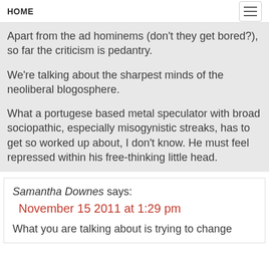HOME
Apart from the ad hominems (don't they get bored?), so far the criticism is pedantry.

We're talking about the sharpest minds of the neoliberal blogosphere.

What a portugese based metal speculator with broad sociopathic, especially misogynistic streaks, has to get so worked up about, I don't know. He must feel repressed within his free-thinking little head.
Samantha Downes says:
November 15 2011 at 1:29 pm
What you are talking about is trying to change